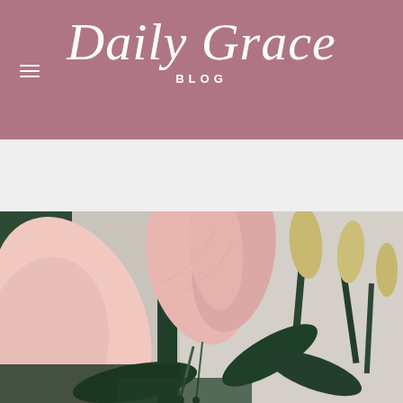Daily Grace BLOG
[Figure (photo): Close-up photograph of pink lily flowers with green stems and buds against a light background]